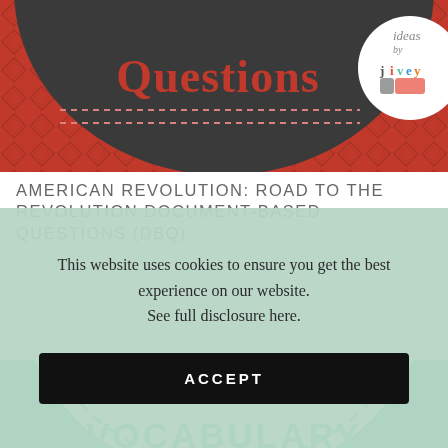[Figure (illustration): Top banner with red diamond/crosshatch pattern background, dark circular arc in center with 'Questions' text in red bold serif font, and 'Ideas by Jivey' logo in white circle at top right]
AMERICAN REVOLUTION: ROAD TO THE REVOLUTION DOCUMENT-BASED QUESTIONS (DBQ)
This website uses cookies to ensure you get the best experience on our website. See full disclosure here.
ACCEPT
[Figure (illustration): Bottom banner with teal/mint green background showing partial 'Vivid Vocabulary' logo with white circle, dashed circular border, and teal decorative text]